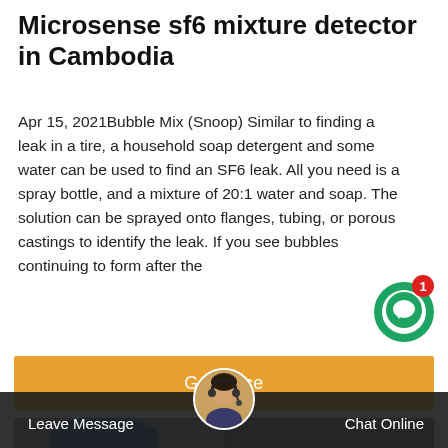Microsense sf6 mixture detector in Cambodia
Apr 15, 2021Bubble Mix (Snoop) Similar to finding a leak in a tire, a household soap detergent and some water can be used to find an SF6 leak. All you need is a spray bottle, and a mixture of 20:1 water and soap. The solution can be sprayed onto flanges, tubing, or porous castings to identify the leak. If you see bubbles continuing to form after the
[Figure (other): Green circular chat button with white speech bubble icon and red notification badge showing '1']
Get Price
[Figure (photo): Worker in blue hard hat and blue uniform working on equipment labeled '5011', shown twice side by side]
Leave Message
[Figure (photo): Customer service agent avatar - woman with headset]
Chat Online